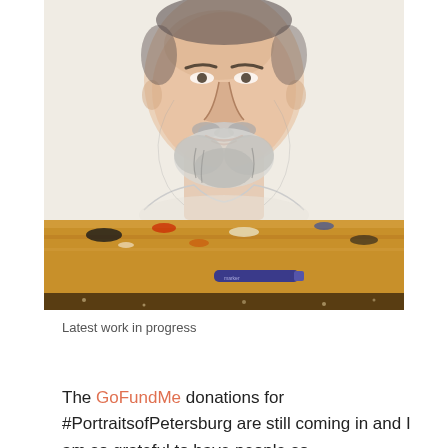[Figure (illustration): A watercolor/pencil portrait in progress of an older man with a white beard and mustache, shown from shoulders up. The drawing is placed on a wooden easel or palette holder with paint marks visible. A blue marker or pen rests on the wooden ledge below.]
Latest work in progress
The GoFundMe donations for #PortraitsofPetersburg are still coming in and I am so grateful to have people so